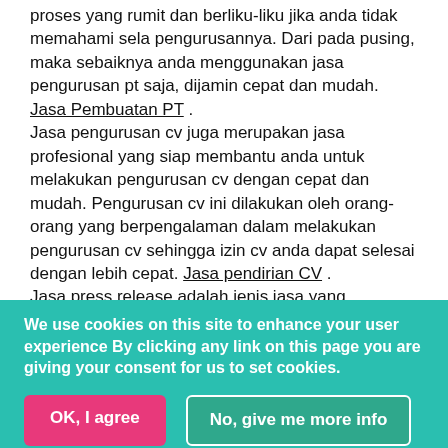proses yang rumit dan berliku-liku jika anda tidak memahami sela pengurusannya. Dari pada pusing, maka sebaiknya anda menggunakan jasa pengurusan pt saja, dijamin cepat dan mudah. Jasa Pembuatan PT . Jasa pengurusan cv juga merupakan jasa profesional yang siap membantu anda untuk melakukan pengurusan cv dengan cepat dan mudah. Pengurusan cv ini dilakukan oleh orang-orang yang berpengalaman dalam melakukan pengurusan cv sehingga izin cv anda dapat selesai dengan lebih cepat. Jasa pendirian CV . Jasa press release adalah jenis jasa yang sebaiknya anda gunakan jika anda ingin memperkenalkan produk atau menyebarkan informasi tertentu kepada masyarakat. Jasa press release ini akan mengatur dan menyediakan semua yang anda butuhkan untuk menyebarluaskan informasi yang anda inginkan. Jasa pembuatan press release . Honda banjarmasin menyediakan anda ragam jenis kendaraan honda bagi anda yang berdomisisli di banjarmasin. Mulai dari motor dan mobil dari berbagai jenis variasi honda semuanya ada di
We use cookies on this site to enhance your user experience By clicking any link on this page you are giving your consent for us to set cookies.
OK, I agree | No, give me more info